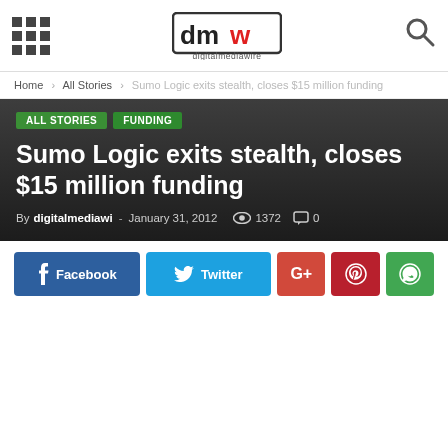digitalmediawire
Home > All Stories > Sumo Logic exits stealth, closes $15 million funding
Sumo Logic exits stealth, closes $15 million funding
By digitalmediawi - January 31, 2012  1372  0
[Figure (infographic): Social share buttons: Facebook, Twitter, Google+, Pinterest, WhatsApp]